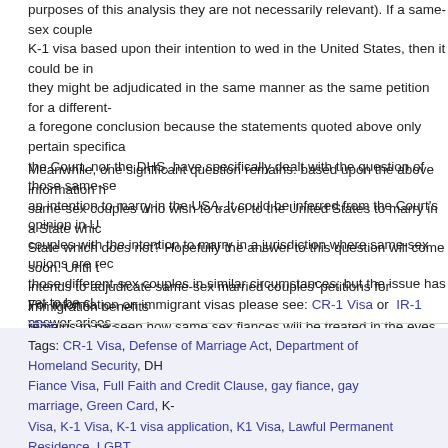purposes of this analysis they are not necessarily relevant). If a same-sex couple K-1 visa based upon their intention to wed in the United States, then it could be in they might be adjudicated in the same manner as the same petition for a different- a foregone conclusion because the statements quoted above only pertain specifica the Court, nor the DHS, have specifically dealt with the question of those same-se an intention to marry in the USA. It could be inferred from the Court's opinion in U couples with the intention to marry in a jurisdiction where same-sex unions are re those different-sex couples in similar circumstances; but the issue has yet to be cl answer arises.
Meanwhile, one significant question remains: based upon the above information h same-sex couples who wish to travel to the United States to marry in a State whic State which does not? Hopefully the answer to this question will come soon. Until intends to adjudicate same-sex married couples' petitions for immigration benefits remains to be seen how same sex fiances will be treated in the eyes of U.S. Immi
For information on immigrant visas please see: CR-1 Visa or IR-1 Visa.
Tags: CR-1 Visa, Defense of Marriage Act, Department of Homeland Security, DH Fiance Visa, Full Faith and Credit Clause, gay fiance, gay marriage, Green Card, K Visa, K-1 Visa, K-1 visa application, K1 Visa, Lawful Permanent Residence, LGBT sex fiance, same sex fiancee, Same Sex Immigration, Same Sex Marriage, same married couples, same-sex legally married couples, U.S. Citizenship and Immigrat Posted in same sex visa | No Comments »